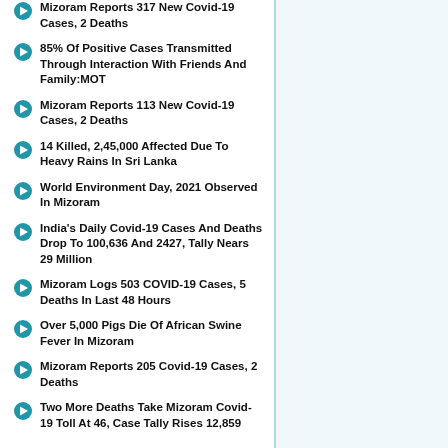Mizoram Reports 317 New Covid-19 Cases, 2 Deaths
85% Of Positive Cases Transmitted Through Interaction With Friends And Family:MOT
Mizoram Reports 113 New Covid-19 Cases, 2 Deaths
14 Killed, 2,45,000 Affected Due To Heavy Rains In Sri Lanka
World Environment Day, 2021 Observed In Mizoram
India's Daily Covid-19 Cases And Deaths Drop To 100,636 And 2427, Tally Nears 29 Million
Mizoram Logs 503 COVID-19 Cases, 5 Deaths In Last 48 Hours
Over 5,000 Pigs Die Of African Swine Fever In Mizoram
Mizoram Reports 205 Covid-19 Cases, 2 Deaths
Two More Deaths Take Mizoram Covid-19 Toll At 46, Case Tally Rises 12,859